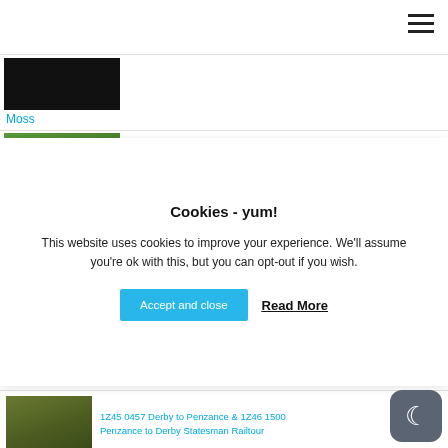Navigation menu (hamburger icon)
[Figure (photo): Dark/black image thumbnail (partially visible at top)]
Moss
[Figure (photo): Green foliage/moss image thumbnail (partially visible)]
Cookies - yum!
This website uses cookies to improve your experience. We'll assume you're ok with this, but you can opt-out if you wish.
Accept and close | Read More
[Figure (photo): Green diesel locomotive train photo]
1Z45 0457 Derby to Penzance & 1Z46 1500 Penzance to Derby Statesman Railtour
[Figure (photo): Blue/green train at platform (partially visible)]
2K29 1723 London Euston to Milton Keynes Central